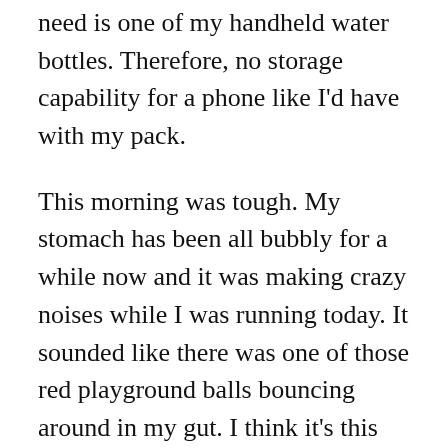need is one of my handheld water bottles. Therefore, no storage capability for a phone like I'd have with my pack.
This morning was tough. My stomach has been all bubbly for a while now and it was making crazy noises while I was running today. It sounded like there was one of those red playground balls bouncing around in my gut. I think it's this new schedule. It takes time.
Also, leg did not feel better at all. It felt worse. I'm going to finish out Wednesday's and Thursday's runs and then see how I feel.
Loooong day at work.